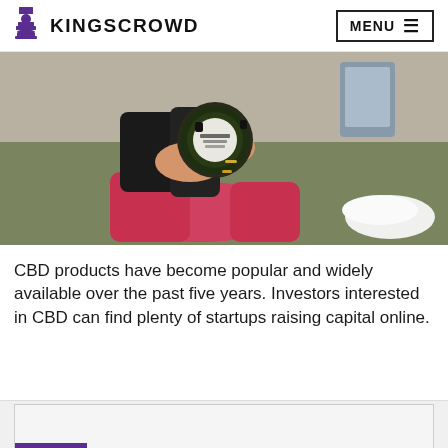KINGSCROWD  MENU
[Figure (photo): A person in red pants and black top holding a small round CBD product container, sitting on a green surface with white sneakers visible in the background.]
CBD products have become popular and widely available over the past five years. Investors interested in CBD can find plenty of startups raising capital online.